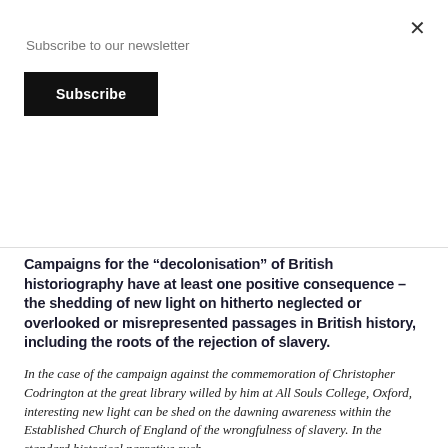Subscribe to our newsletter
Subscribe
Campaigns for the “decolonisation” of British historiography have at least one positive consequence – the shedding of new light on hitherto neglected or overlooked or misrepresented passages in British history, including the roots of the rejection of slavery.
In the case of the campaign against the commemoration of Christopher Codrington at the great library willed by him at All Souls College, Oxford, interesting new light can be shed on the dawning awareness within the Established Church of England of the wrongfulness of slavery. In the standard historical narrative such